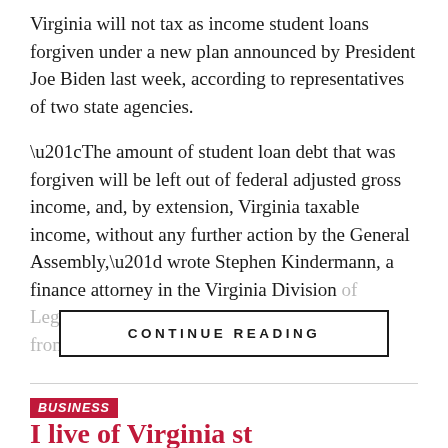Virginia will not tax as income student loans forgiven under a new plan announced by President Joe Biden last week, according to representatives of two state agencies.
“The amount of student loan debt that was forgiven will be left out of federal adjusted gross income, and, by extension, Virginia taxable income, without any further action by the General Assembly,” wrote Stephen Kindermann, a finance attorney in the Virginia Division of Legislative Services, in response to an inquiry from Del. Marcus Simon, D-Fairfax.
CONTINUE READING
BUSINESS
I live of Virginia st